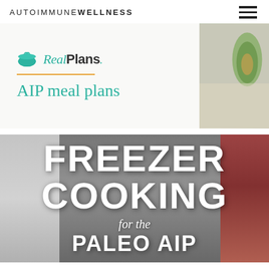AUTOIMMUNE WELLNESS
[Figure (screenshot): RealPlans AIP meal plans advertisement banner with teal bowl logo, orange divider line, and food photography on the right]
[Figure (screenshot): Freezer Cooking for the Paleo AIP book/article promotional banner with large white bold text over dark food photography background]